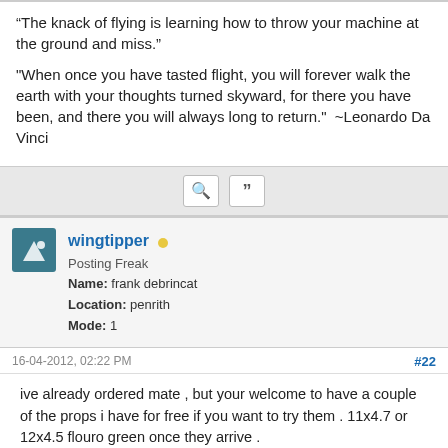“The knack of flying is learning how to throw your machine at the ground and miss.”
"When once you have tasted flight, you will forever walk the earth with your thoughts turned skyward, for there you have been, and there you will always long to return."  ~Leonardo Da Vinci
[Figure (other): Icon bar with search and quote icons]
wingtipper
Posting Freak
Name: frank debrincat
Location: penrith
Mode: 1
16-04-2012, 02:22 PM
#22
ive already ordered mate , but your welcome to have a couple of the props i have for free if you want to try them . 11x4.7 or 12x4.5 flouro green once they arrive .
i now have 3 orders on the way , and a transmitter in limbo at